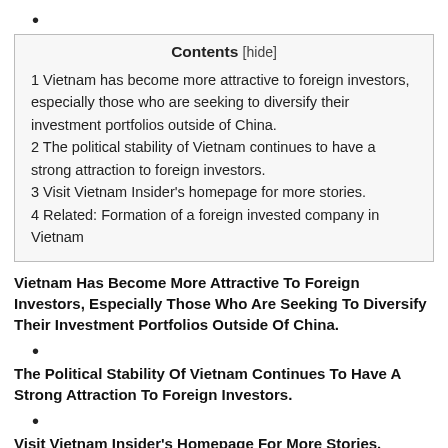•
| Contents [hide] |
| --- |
| 1 Vietnam has become more attractive to foreign investors, especially those who are seeking to diversify their investment portfolios outside of China. |
| 2 The political stability of Vietnam continues to have a strong attraction to foreign investors. |
| 3 Visit Vietnam Insider's homepage for more stories. |
| 4 Related: Formation of a foreign invested company in Vietnam |
Vietnam Has Become More Attractive To Foreign Investors, Especially Those Who Are Seeking To Diversify Their Investment Portfolios Outside Of China.
•
The Political Stability Of Vietnam Continues To Have A Strong Attraction To Foreign Investors.
•
Visit Vietnam Insider's Homepage For More Stories.